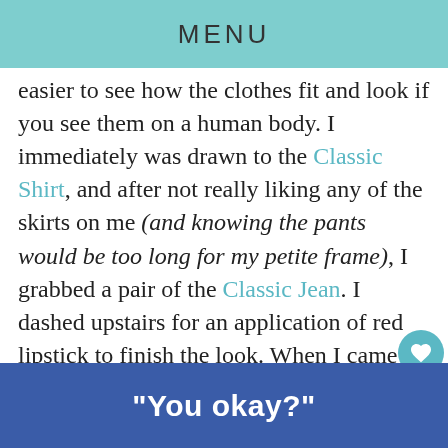MENU
easier to see how the clothes fit and look if you see them on a human body. I immediately was drawn to the Classic Shirt, and after not really liking any of the skirts on me (and knowing the pants would be too long for my petite frame), I grabbed a pair of the Classic Jean. I dashed upstairs for an application of red lipstick to finish the look. When I came down, Lisa had set up two full-length mirrors in my house, and had a basket full of order forms, catalogs, and pens. She even had two pairs of hot pink reading glasses and a CAb calculator! Lisa also had style boards – big b... in
“You okay?”